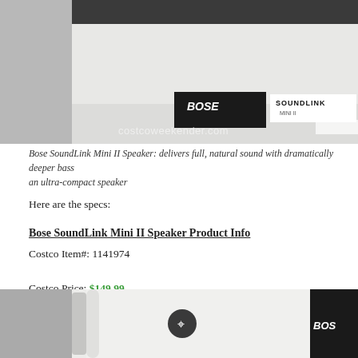[Figure (photo): Bose SoundLink Mini II Speaker box with Bose and SoundLink logos visible, watermark costcoweekender.com]
Bose SoundLink Mini II Speaker: delivers full, natural sound with dramatically deeper bass than expected from an ultra-compact speaker
Here are the specs:
Bose SoundLink Mini II Speaker Product Info
Costco Item#: 1141974
Costco Price: $149.99
Found at: Costco in Redwood City, CA (2300 Middlefield Rd.)
(price and availability may vary per Costco location)
[Figure (photo): Bose SoundLink Mini II Speaker close-up showing Bluetooth symbol and Bose logo on white/silver body]